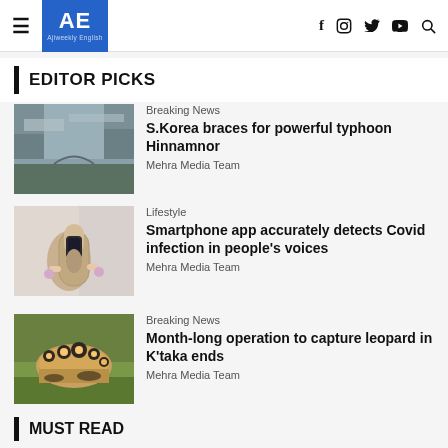AE Ajiweekly English — f IG Twitter YouTube Search
EDITOR PICKS
[Figure (photo): Flooded river with bridge and rocky banks]
Breaking News
S.Korea braces for powerful typhoon Hinnamnor
Mehra Media Team
[Figure (photo): Person holding a smartphone]
Lifestyle
Smartphone app accurately detects Covid infection in people's voices
Mehra Media Team
[Figure (photo): Leopard standing in green grass]
Breaking News
Month-long operation to capture leopard in K'taka ends
Mehra Media Team
MUST READ